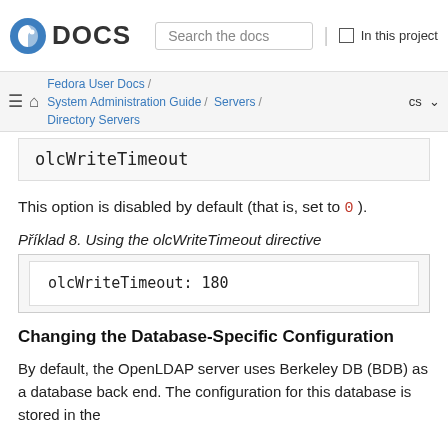Fedora DOCS | Search the docs | In this project
Fedora User Docs / System Administration Guide / Servers / Directory Servers  cs
olcWriteTimeout
This option is disabled by default (that is, set to 0 ).
Příklad 8. Using the olcWriteTimeout directive
olcWriteTimeout: 180
Changing the Database-Specific Configuration
By default, the OpenLDAP server uses Berkeley DB (BDB) as a database back end. The configuration for this database is stored in the